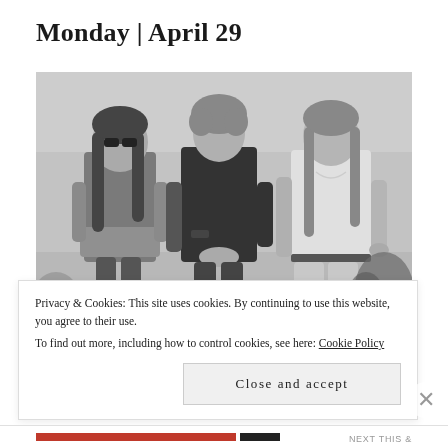Monday | April 29
[Figure (photo): Black and white photograph of three young people with long hair standing outdoors against a light sky background. The person on the left wears sunglasses and has a jacket tied around their waist. The person in the center wears a black t-shirt. The person on the right wears a white t-shirt and light-colored pants.]
Privacy & Cookies: This site uses cookies. By continuing to use this website, you agree to their use.
To find out more, including how to control cookies, see here: Cookie Policy
Close and accept